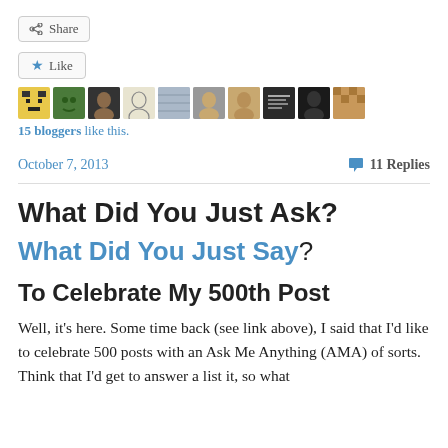[Figure (other): Share button with arrow icon]
[Figure (other): Like button with star icon followed by a row of 10 blogger avatar thumbnails]
15 bloggers like this.
October 7, 2013
💬 11 Replies
What Did You Just Ask?
What Did You Just Say?
To Celebrate My 500th Post
Well, it's here. Some time back (see link above), I said that I'd like to celebrate 500 posts with an Ask Me Anything (AMA) of sorts. Think that I'd get to answer a list it, so what